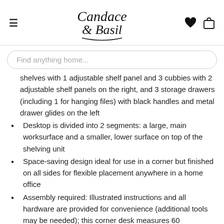Candace & Basil — navigation header with hamburger menu, logo, heart and bag icons
Find anything home...
shelves with 1 adjustable shelf panel and 3 cubbies with 2 adjustable shelf panels on the right, and 3 storage drawers (including 1 for hanging files) with black handles and metal drawer glides on the left
Desktop is divided into 2 segments: a large, main worksurface and a smaller, lower surface on top of the shelving unit
Space-saving design ideal for use in a corner but finished on all sides for flexible placement anywhere in a home office
Assembly required: Illustrated instructions and all hardware are provided for convenience (additional tools may be needed); this corner desk measures 60